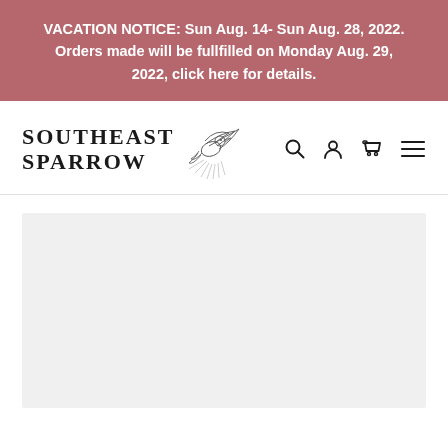VACATION NOTICE: Sun Aug. 14- Sun Aug. 28, 2022. Orders made will be fullfilled on Monday Aug. 29, 2022, click here for details.
[Figure (logo): Southeast Sparrow logo with stylized sparrow bird illustration and text]
[Figure (screenshot): Gray placeholder content area below the navigation bar]